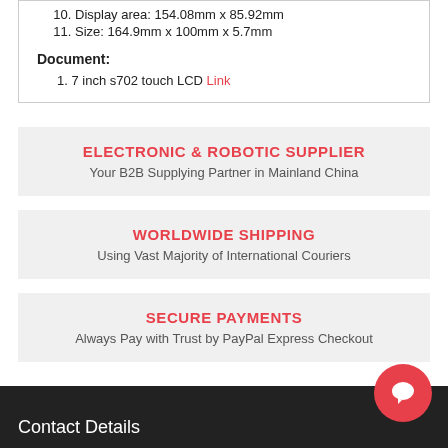10. Display area: 154.08mm x 85.92mm
11. Size: 164.9mm x 100mm x 5.7mm
Document:
1. 7 inch s702 touch LCD Link
ELECTRONIC & ROBOTIC SUPPLIER
Your B2B Supplying Partner in Mainland China
WORLDWIDE SHIPPING
Using Vast Majority of International Couriers
SECURE PAYMENTS
Always Pay with Trust by PayPal Express Checkout
Contact Details